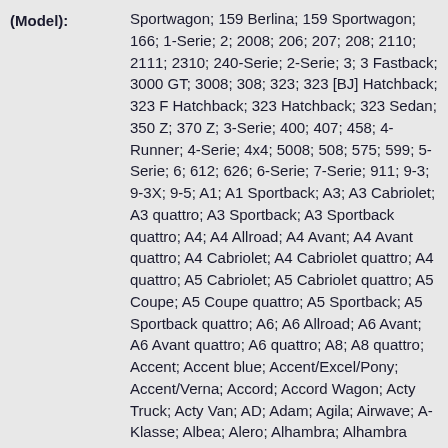(Model): Sportwagon; 159 Berlina; 159 Sportwagon; 166; 1-Serie; 2; 2008; 206; 207; 208; 2110; 2111; 2310; 240-Serie; 2-Serie; 3; 3 Fastback; 3000 GT; 3008; 308; 323; 323 [BJ] Hatchback; 323 F Hatchback; 323 Hatchback; 323 Sedan; 350 Z; 370 Z; 3-Serie; 400; 407; 458; 4-Runner; 4-Serie; 4x4; 5008; 508; 575; 599; 5-Serie; 6; 612; 626; 6-Serie; 7-Serie; 911; 9-3; 9-3X; 9-5; A1; A1 Sportback; A3; A3 Cabriolet; A3 quattro; A3 Sportback; A3 Sportback quattro; A4; A4 Allroad; A4 Avant; A4 Avant quattro; A4 Cabriolet; A4 Cabriolet quattro; A4 quattro; A5 Cabriolet; A5 Cabriolet quattro; A5 Coupe; A5 Coupe quattro; A5 Sportback; A5 Sportback quattro; A6; A6 Allroad; A6 Avant; A6 Avant quattro; A6 quattro; A8; A8 quattro; Accent; Accent blue; Accent/Excel/Pony; Accent/Verna; Accord; Accord Wagon; Acty Truck; Acty Van; AD; Adam; Agila; Airwave; A-Klasse; Albea; Alero; Alhambra; Alhambra 4Motion; Allex; Almera; Almera Tino; Alphard; Altea; Altea XL; Altezza; Altima; Alto; Amarok; Antara; Aristo; Armada; Arnage; Astra; Astro; Atos; ATS-V; Auris; Avalon; Avenger; Avensis; Avensis Verso; Aveo; Aveo Coupe; Aygo; Azera; B7; Baleno; Barchetta; Barina; bR;